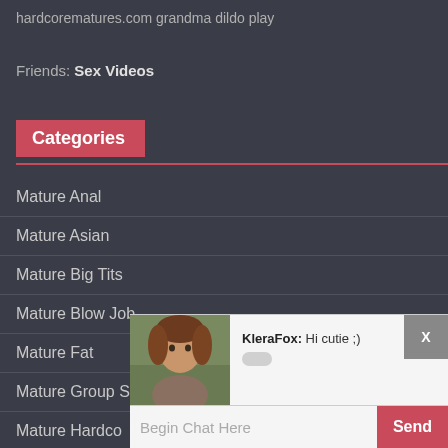hardcorematures.com grandma dildo play
Friends: Sex Videos
Categories
Mature Anal
Mature Asian
Mature Big Tits
Mature Blow Job
Mature Fat
Mature Group Sex
Mature Hardcore
Mature Lesbian
Mature Models
[Figure (screenshot): Chat popup overlay showing a woman's photo, username KleraFox with message 'Hi cutie ;)', a chat bubble indicator, a 'Begin Chat Here' input field, a 'Send' button, and an 'X' close button.]